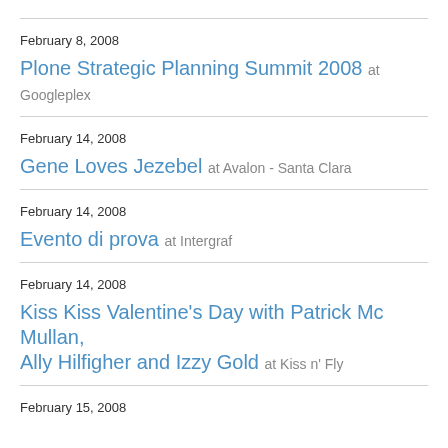February 8, 2008
Plone Strategic Planning Summit 2008 at Googleplex
February 14, 2008
Gene Loves Jezebel at Avalon - Santa Clara
February 14, 2008
Evento di prova at Intergraf
February 14, 2008
Kiss Kiss Valentine's Day with Patrick Mc Mullan, Ally Hilfigher and Izzy Gold at Kiss n' Fly
February 15, 2008